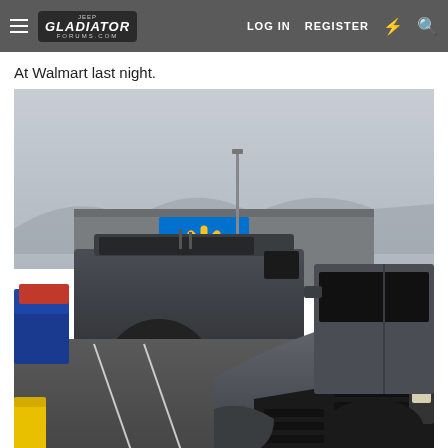Gladiator Forums — LOG IN  REGISTER
At Walmart last night.
[Figure (photo): Photo of Jeep Wrangler vehicles parked in a Walmart parking lot at night. Two dark grey/black Jeep Wranglers are visible, with a Walmart store and its blue spark logo sign visible in the background. A yellow parking bollard is in the lower left. Other cars are parked in the lot.]